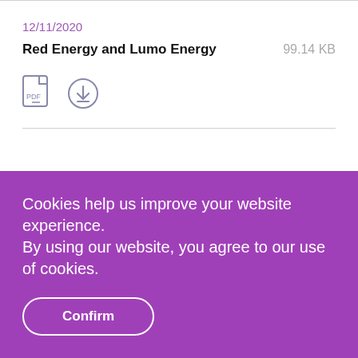12/11/2020
Red Energy and Lumo Energy
99.14 KB
[Figure (illustration): PDF file icon and download icon]
Cookies help us improve your website experience.
By using our website, you agree to our use of cookies.
Confirm